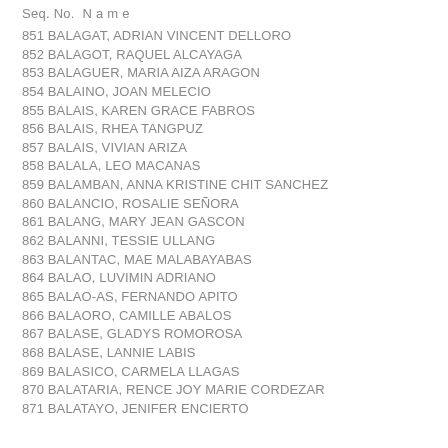Seq. No.  N a m e
851 BALAGAT, ADRIAN VINCENT DELLORO
852 BALAGOT, RAQUEL ALCAYAGA
853 BALAGUER, MARIA AIZA ARAGON
854 BALAINO, JOAN MELECIO
855 BALAIS, KAREN GRACE FABROS
856 BALAIS, RHEA TANGPUZ
857 BALAIS, VIVIAN ARIZA
858 BALALA, LEO MACANAS
859 BALAMBAN, ANNA KRISTINE CHIT SANCHEZ
860 BALANCIO, ROSALIE SEÑORA
861 BALANG, MARY JEAN GASCON
862 BALANNI, TESSIE ULLANG
863 BALANTAC, MAE MALABAYABAS
864 BALAO, LUVIMIN ADRIANO
865 BALAO-AS, FERNANDO APITO
866 BALAORO, CAMILLE ABALOS
867 BALASE, GLADYS ROMOROSA
868 BALASE, LANNIE LABIS
869 BALASICO, CARMELA LLAGAS
870 BALATARIA, RENCE JOY MARIE CORDEZAR
871 BALATAYO, JENIFER ENCIERTO